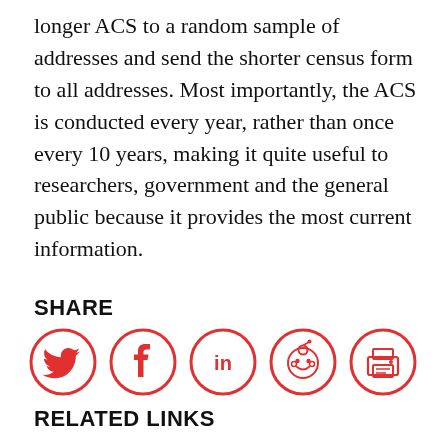longer ACS to a random sample of addresses and send the shorter census form to all addresses. Most importantly, the ACS is conducted every year, rather than once every 10 years, making it quite useful to researchers, government and the general public because it provides the most current information.
SHARE
[Figure (infographic): Five social sharing icons in a row: Twitter (bird), Facebook (f), LinkedIn (in), Reddit (alien face), Print (printer). All icons are red outlines on white background, circular.]
RELATED LINKS